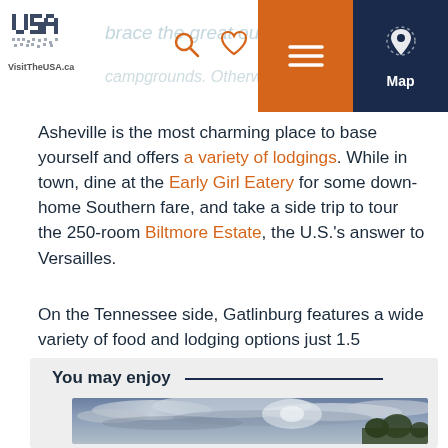VisitTheUSA.ca — navigation header with logo, search, heart, menu, and map buttons
Asheville is the most charming place to base yourself and offers a variety of lodgings. While in town, dine at the Early Girl Eatery for some down-home Southern fare, and take a side trip to tour the 250-room Biltmore Estate, the U.S.'s answer to Versailles.
On the Tennessee side, Gatlinburg features a wide variety of food and lodging options just 1.5 kilometers beyond the park boundaries.
You may enjoy
[Figure (photo): Cloudy sky with trees in foreground, scenic landscape photo]